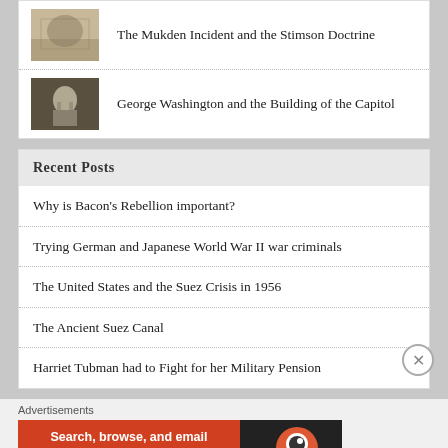The Mukden Incident and the Stimson Doctrine
George Washington and the Building of the Capitol
Recent Posts
Why is Bacon's Rebellion important?
Trying German and Japanese World War II war criminals
The United States and the Suez Crisis in 1956
The Ancient Suez Canal
Harriet Tubman had to Fight for her Military Pension
Advertisements
[Figure (other): DuckDuckGo advertisement banner: 'Search, browse, and email with more privacy. All in One Free App' with DuckDuckGo logo on dark background]